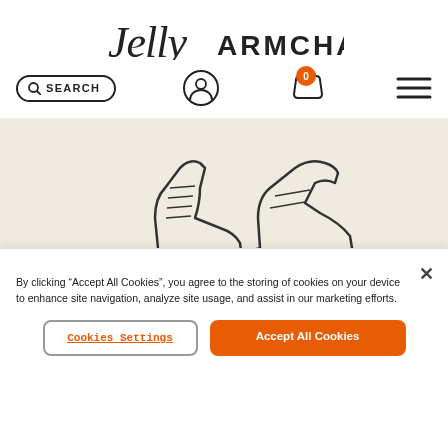[Figure (logo): JellyArmchair handwritten logo text]
[Figure (screenshot): Navigation bar with search pill, user icon, cart icon with badge '0', and hamburger menu]
[Figure (illustration): Illustrated shoes/boots on a beige linen background, cropped hero image]
Thank You
By clicking "Accept All Cookies", you agree to the storing of cookies on your device to enhance site navigation, analyze site usage, and assist in our marketing efforts.
Cookies Settings
Accept All Cookies